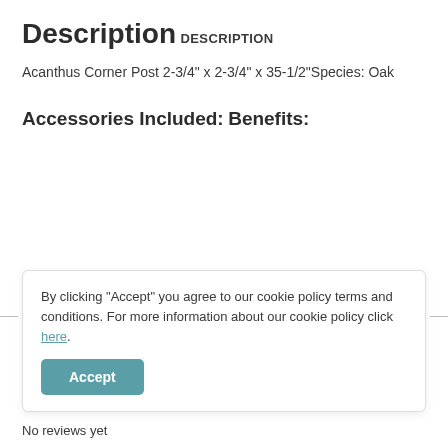Description
DESCRIPTION
Acanthus Corner Post 2-3/4" x 2-3/4" x 35-1/2"Species: Oak
Accessories Included:
Benefits:
By clicking "Accept" you agree to our cookie policy terms and conditions. For more information about our cookie policy click here.
No reviews yet